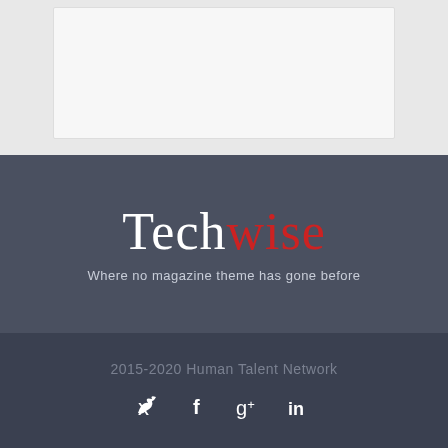[Figure (screenshot): Top content area with a light gray background and a white card/panel element centered within it]
Techwise
Where no magazine theme has gone before
2015-2020 Human Talent Network
[Figure (other): Social media icons row: Twitter bird, Facebook f, Google Plus g+, LinkedIn in]